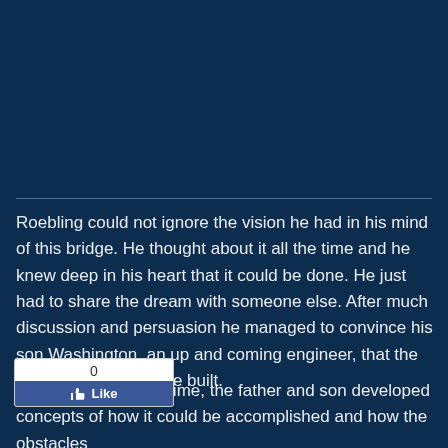[Figure (illustration): Dark navy blue background area filling the top portion of the page, representing an image placeholder]
Roebling could not ignore the vision he had in his mind of this bridge. He thought about it all the time and he knew deep in his heart that it could be done. He just had to share the dream with someone else. After much discussion and persuasion he managed to convince his son Washington, an up and coming engineer, that the bridge in fact could be built.
[Figure (screenshot): Facebook Like widget showing count of 0 and a Like button with thumbs up icon]
together for the first time, the father and son developed concepts of how it could be accomplished and how the obstacles